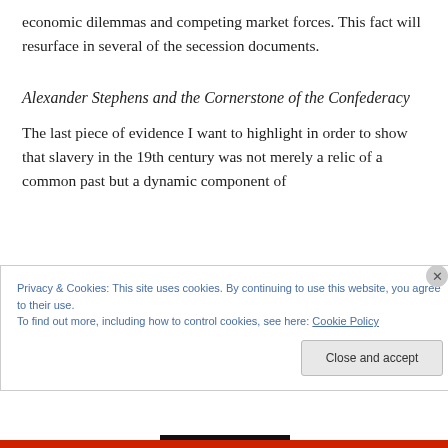economic dilemmas and competing market forces. This fact will resurface in several of the secession documents.
Alexander Stephens and the Cornerstone of the Confederacy
The last piece of evidence I want to highlight in order to show that slavery in the 19th century was not merely a relic of a common past but a dynamic component of
Privacy & Cookies: This site uses cookies. By continuing to use this website, you agree to their use.
To find out more, including how to control cookies, see here: Cookie Policy
Close and accept